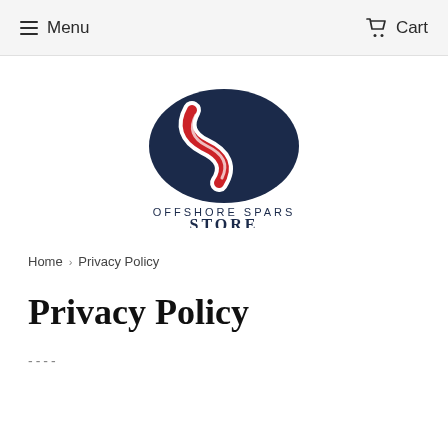Menu  Cart
[Figure (logo): Offshore Spars Store logo: dark navy oval with red and white S-curve swoosh, text 'OFFSHORE SPARS STORE' below]
Home › Privacy Policy
Privacy Policy
----